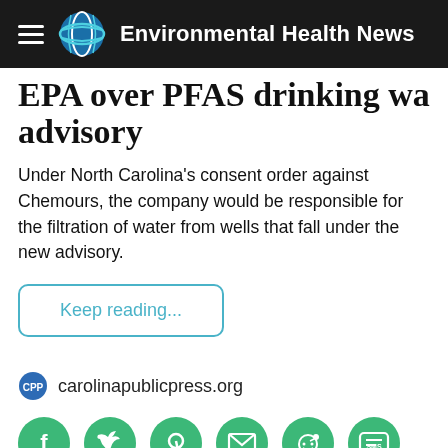Environmental Health News
EPA over PFAS drinking water advisory
Under North Carolina's consent order against Chemours, the company would be responsible for the filtration of water from wells that fall under the new advisory.
Keep reading...
carolinapublicpress.org
[Figure (infographic): Row of six green circular social share buttons: Facebook, Twitter, Pinterest, Email, Reddit, SMS]